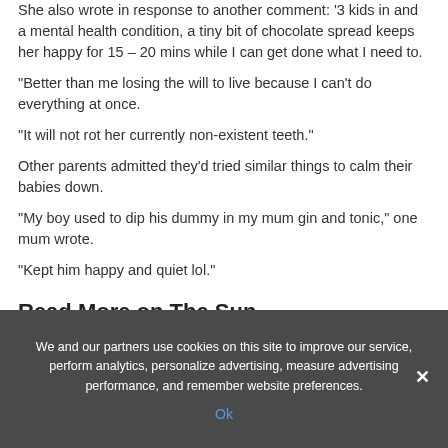She also wrote in response to another comment: '3 kids in and a mental health condition, a tiny bit of chocolate spread keeps her happy for 15 – 20 mins while I can get done what I need to.
"Better than me losing the will to live because I can't do everything at once.
"It will not rot her currently non-existent teeth."
Other parents admitted they'd tried similar things to calm their babies down.
"My boy used to dip his dummy in my mum gin and tonic," one mum wrote.
"Kept him happy and quiet lol."
Read More on The Sun
We and our partners use cookies on this site to improve our service, perform analytics, personalize advertising, measure advertising performance, and remember website preferences.
Ok